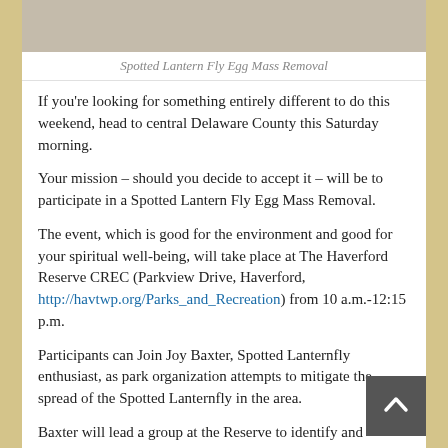[Figure (photo): Top portion of a spotted lantern fly egg mass removal image, partially cropped]
Spotted Lantern Fly Egg Mass Removal
If you're looking for something entirely different to do this weekend, head to central Delaware County this Saturday morning.
Your mission – should you decide to accept it – will be to participate in a Spotted Lantern Fly Egg Mass Removal.
The event, which is good for the environment and good for your spiritual well-being, will take place at The Haverford Reserve CREC (Parkview Drive, Haverford, http://havtwp.org/Parks_and_Recreation) from 10 a.m.-12:15 p.m.
Participants can Join Joy Baxter, Spotted Lanternfly enthusiast, as park organization attempts to mitigate the spread of the Spotted Lanternfly in the area.
Baxter will lead a group at the Reserve to identify and remove SLF egg masses. These egg masses can contain 30-50 nymphs and removing them is one of the best ways to mitigate this pest.
The event is free and open to all.